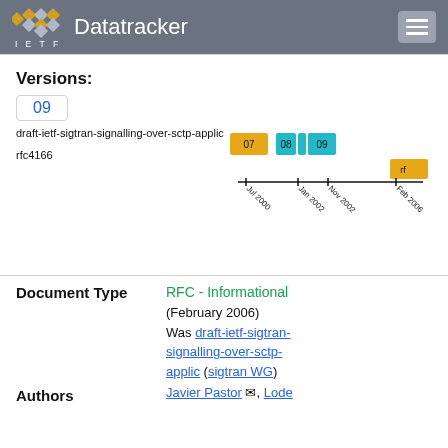IETF Datatracker
Versions:
09
draft-ietf-sigtran-signalling-over-sctp-applic
rfc4166
[Figure (other): Timeline chart showing draft versions (07, 08, 09) between Jul 2000 and Feb 2006, with colored blocks and a line with tick marks at Jul 2000, Jan 2002, Nov 2002, Feb 2006]
| Document Type |  |
| --- | --- |
| Document Type | RFC - Informational (February 2006)
Was draft-ietf-sigtran-signalling-over-sctp-applic (sigtran WG) |
| Authors | Javier Pastor ✉, Lode |
Document Type
RFC - Informational (February 2006) Was draft-ietf-sigtran-signalling-over-sctp-applic (sigtran WG)
Authors
Javier Pastor ✉, Lode